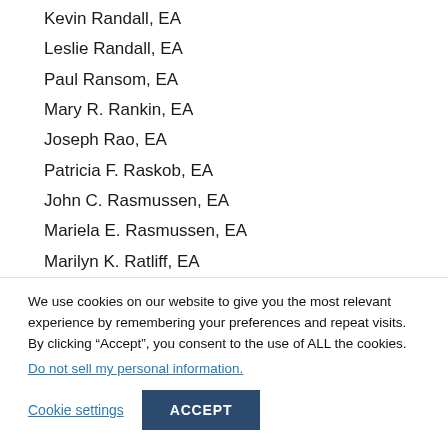Kevin Randall, EA
Leslie Randall, EA
Paul Ransom, EA
Mary R. Rankin, EA
Joseph Rao, EA
Patricia F. Raskob, EA
John C. Rasmussen, EA
Mariela E. Rasmussen, EA
Marilyn K. Ratliff, EA
Robert Ratliff. EA
We use cookies on our website to give you the most relevant experience by remembering your preferences and repeat visits. By clicking “Accept”, you consent to the use of ALL the cookies.
Do not sell my personal information.
Cookie settings
ACCEPT